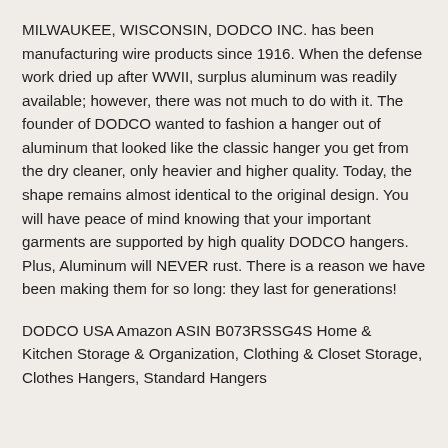MILWAUKEE, WISCONSIN, DODCO INC. has been manufacturing wire products since 1916. When the defense work dried up after WWII, surplus aluminum was readily available; however, there was not much to do with it. The founder of DODCO wanted to fashion a hanger out of aluminum that looked like the classic hanger you get from the dry cleaner, only heavier and higher quality. Today, the shape remains almost identical to the original design. You will have peace of mind knowing that your important garments are supported by high quality DODCO hangers. Plus, Aluminum will NEVER rust. There is a reason we have been making them for so long: they last for generations!
DODCO USA Amazon ASIN B073RSSG4S Home & Kitchen Storage & Organization, Clothing & Closet Storage, Clothes Hangers, Standard Hangers